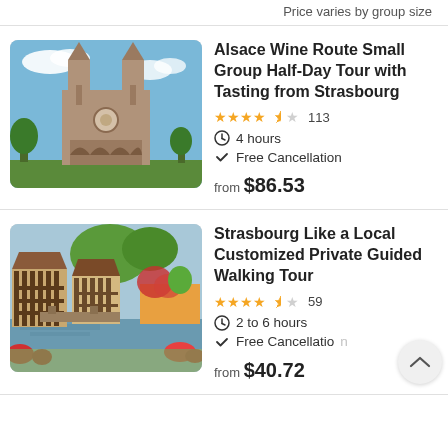Price varies by group size
[Figure (photo): Strasbourg Cathedral gothic facade with twin spires against blue sky with clouds]
Alsace Wine Route Small Group Half-Day Tour with Tasting from Strasbourg
★★★★½ 113
4 hours
Free Cancellation
from $86.53
[Figure (photo): Strasbourg La Petite France district with half-timbered houses reflected in the canal, flowers in foreground]
Strasbourg Like a Local Customized Private Guided Walking Tour
★★★★½ 59
2 to 6 hours
Free Cancellation
from $40.72